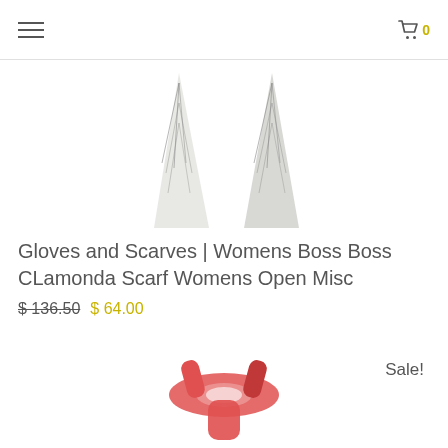navigation menu and cart with 0 items
[Figure (photo): Two triangular folded scarf tips with green leaf/palm pattern on white background]
Gloves and Scarves | Womens Boss Boss CLamonda Scarf Womens Open Misc
$ 136.50 $ 64.00
[Figure (photo): Red/coral colored folded scarf or fabric accessory]
Sale!